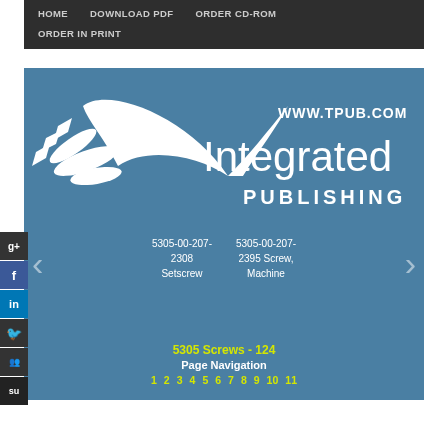HOME    DOWNLOAD PDF    ORDER CD-ROM    ORDER IN PRINT
[Figure (logo): Integrated Publishing logo with bird/swoosh graphic and WWW.TPUB.COM URL]
5305-00-207-2308 Setscrew
5305-00-207-2395 Screw, Machine
5305 Screws - 124
Page Navigation
1  2  3  4  5  6  7  8  9  10  11